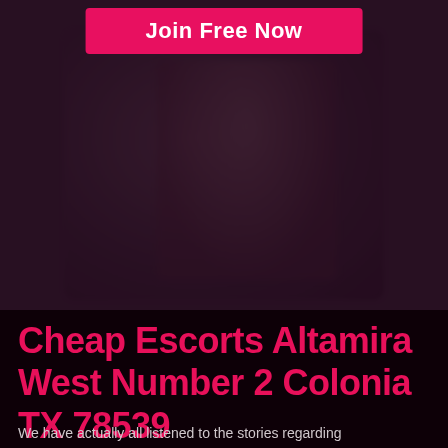[Figure (photo): Dark-toned background photo of two blurred figures, partially visible, with a dark reddish-purple overlay]
Join Free Now
Cheap Escorts Altamira West Number 2 Colonia TX 78539
We have actually all listened to the stories regarding